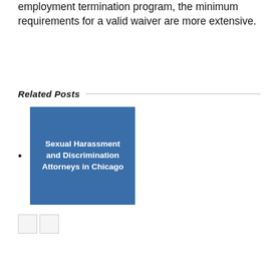employment termination program, the minimum requirements for a valid waiver are more extensive.
Related Posts
Sexual Harassment and Discrimination Attorneys in Chicago
[Figure (other): Pagination buttons: two small square navigation buttons]